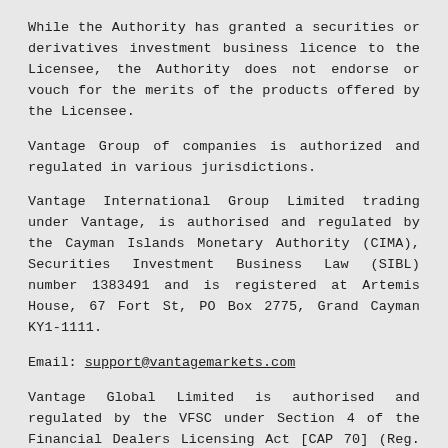While the Authority has granted a securities or derivatives investment business licence to the Licensee, the Authority does not endorse or vouch for the merits of the products offered by the Licensee.
Vantage Group of companies is authorized and regulated in various jurisdictions.
Vantage International Group Limited trading under Vantage, is authorised and regulated by the Cayman Islands Monetary Authority (CIMA), Securities Investment Business Law (SIBL) number 1383491 and is registered at Artemis House, 67 Fort St, PO Box 2775, Grand Cayman KY1-1111.
Email: support@vantagemarkets.com
Vantage Global Limited is authorised and regulated by the VFSC under Section 4 of the Financial Dealers Licensing Act [CAP 70] (Reg. No. 700271) and is registered at iCount Building, Kumul Highway, Port Vila, Vanuatu.
Email: support@vantagemarkets.com
Vantage Global Prime Pty Ltd trading under Vantage, is regulated by the Australian Securities and Investments Commission (ASIC), AFSL no. 428901 and is located at level